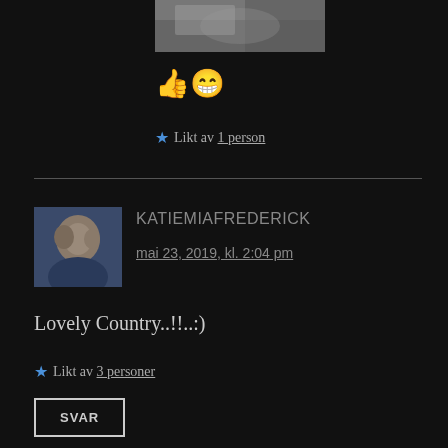[Figure (photo): Small landscape photo showing snowy or icy scene]
👍😁
★ Likt av 1 person
[Figure (photo): Profile photo of a couple, man and woman smiling]
KATIEMIAFREDERICK
mai 23, 2019, kl. 2:04 pm
Lovely Country..!!..:)
★ Likt av 3 personer
SVAR